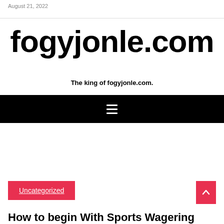August 21, 2022
fogyjonle.com
The king of fogyjonle.com.
[Figure (other): Black navigation bar with white hamburger menu icon (three horizontal lines)]
Uncategorized
How to begin With Sports Wagering